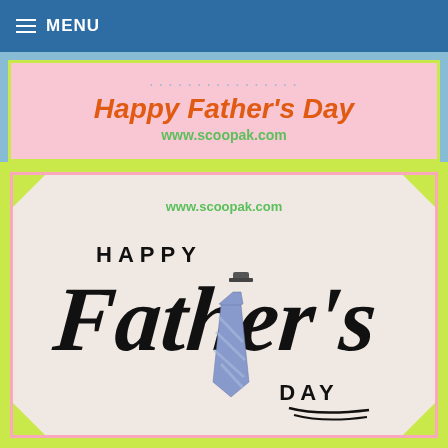≡ MENU
[Figure (illustration): Happy Father's Day banner with orange bold italic text on pink background with green border, www.scoopak.com URL in green]
[Figure (illustration): Happy Father's Day greeting card with handwritten calligraphy text in black, a blue striped necktie, www.scoopak.com URL in green, on speckled white background with lime green and pink border]